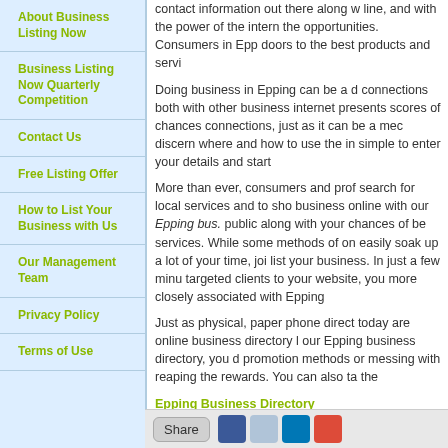About Business Listing Now
Business Listing Now Quarterly Competition
Contact Us
Free Listing Offer
How to List Your Business with Us
Our Management Team
Privacy Policy
Terms of Use
contact information out there along with line, and with the power of the intern the opportunities. Consumers in Epp doors to the best products and servi
Doing business in Epping can be a d connections both with other business internet presents scores of chances connections, just as it can be a mec discern where and how to use the in simple to enter your details and start
More than ever, consumers and prof search for local services and to sho business online with our Epping bus public along with your chances of be services. While some methods of on easily soak up a lot of your time, joi list your business. In just a few minu targeted clients to your website, you more closely associated with Epping
Just as physical, paper phone direct today are online business directory l our Epping business directory, you d promotion methods or messing with reaping the rewards. You can also ta the
Epping Business Directory
and others, covering all of Australia. on offer in Epping , we have the fres scrutinize with ease.
Share